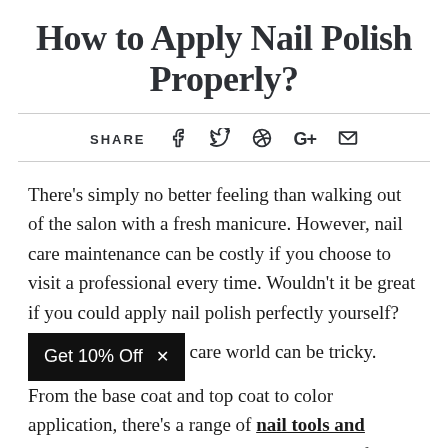How to Apply Nail Polish Properly?
SHARE [social icons: Facebook, Twitter, Pinterest, Google+, Email]
There's simply no better feeling than walking out of the salon with a fresh manicure. However, nail care maintenance can be costly if you choose to visit a professional every time. Wouldn't it be great if you could apply nail polish perfectly yourself?
Get 10% Off ×  care world can be tricky. From the base coat and top coat to color application, there's a range of nail tools and treatments to help you on this journey. So, for beautiful nails with a professional finish, you need to know the basics in order to DIY